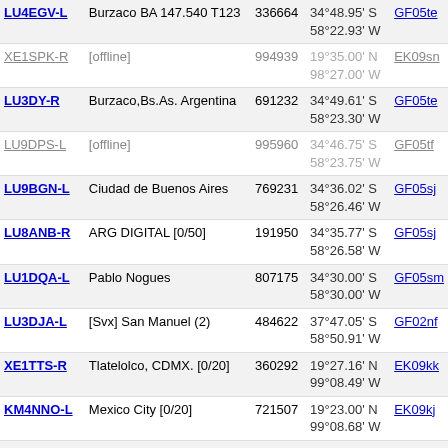| Callsign | Location | ID | Coordinates | Grid |
| --- | --- | --- | --- | --- |
| LU4EGV-L | Burzaco BA 147.540 T123 | 336664 | 34°48.95' S 58°22.93' W | GF05te |
| XE1SPK-R | [offline] | 994939 | 19°35.00' N 98°27.00' W | EK09sn |
| LU3DY-R | Burzaco,Bs.As. Argentina | 691232 | 34°49.61' S 58°23.30' W | GF05te |
| LU9DPS-L | [offline] | 995960 | 34°46.75' S 58°23.75' W | GF05tf |
| LU9BGN-L | Ciudad de Buenos Aires | 769231 | 34°36.02' S 58°26.46' W | GF05sj |
| LU8ANB-R | ARG DIGITAL [0/50] | 191950 | 34°35.77' S 58°26.58' W | GF05sj |
| LU1DQA-L | Pablo Nogues | 807175 | 34°30.00' S 58°30.00' W | GF05sm |
| LU3DJA-L | [Svx] San Manuel (2) | 484622 | 37°47.05' S 58°50.91' W | GF02nf |
| XE1TTS-R | Tlatelolco, CDMX. [0/20] | 360292 | 19°27.16' N 99°08.49' W | EK09kk |
| KM4NNO-L | Mexico City [0/20] | 721507 | 19°23.00' N 99°08.68' W | EK09kj |
| XE1CNA-L | [offline] | 680101 | 19°21.82' N 99°15.96' W | EK09ii |
| LW9DC-L | In Conference *ARG_TDF* | 313100 | 34°27.24' S 58°53.27' W | GF05nn |
| XE1USG-L | [offline] | 476027 | 19°04.10' N 98°12.00' W | EK09vb |
| XE2JAC-L | Cuautlancingo, Puebla | 909238 | 19°04.86' N | EK09ub |